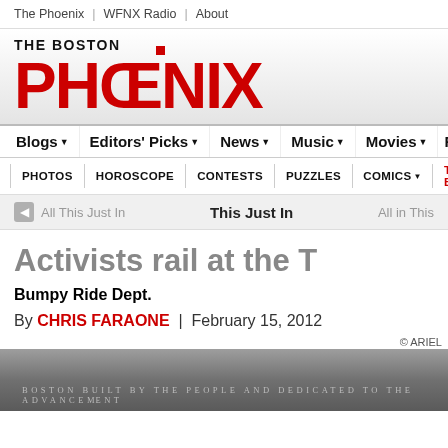The Phoenix | WFNX Radio | About
[Figure (logo): The Boston Phoenix logo — 'THE BOSTON' in black bold text above 'PHOENIX' in large red bold uppercase letters with a small red square dot above]
Blogs ▾ | Editors' Picks ▾ | News ▾ | Music ▾ | Movies ▾ | Fo...
PHOTOS | HOROSCOPE | CONTESTS | PUZZLES | COMICS ▾ | THE BEST
This Just In
Activists rail at the T
Bumpy Ride Dept.
By CHRIS FARAONE | February 15, 2012
© ARIEL
[Figure (photo): Exterior architectural detail of a stone building with engraved text reading 'BOSTON BUILT BY THE PEOPLE AND DEDICATED TO THE ADVANCEMENT...']